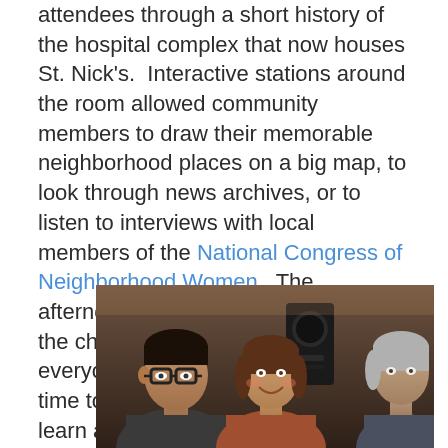attendees through a short history of the hospital complex that now houses St. Nick's.  Interactive stations around the room allowed community members to draw their memorable neighborhood places on a big map, to look through news archives, or to listen to interviews with local members of the National Congress of Neighborhood Women.  The afternoon was a fantastic break from the chaos of everyday life for everyone involved; we gave ourselves time to reflect, connect, plan, and learn about each other.
[Figure (photo): Photo of event attendees, showing three people: a man with dark hair and glasses on the left, a smiling woman in the center, and a person with silver/grey hair on the right. A dark speaker or equipment is visible in the background.]